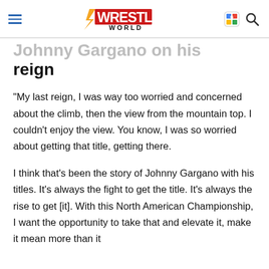Wrestling World
…reign
“My last reign, I was way too worried and concerned about the climb, then the view from the mountain top. I couldn’t enjoy the view. You know, I was so worried about getting that title, getting there.
I think that’s been the story of Johnny Gargano with his titles. It’s always the fight to get the title. It’s always the rise to get [it]. With this North American Championship, I want the opportunity to take that and elevate it, make it mean more than it